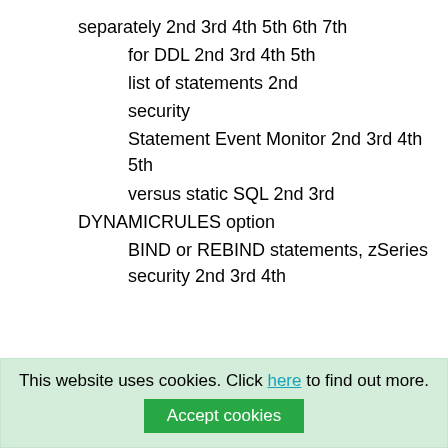separately 2nd 3rd 4th 5th 6th 7th
for DDL 2nd 3rd 4th 5th
list of statements 2nd
security
Statement Event Monitor 2nd 3rd 4th 5th
versus static SQL 2nd 3rd
DYNAMICRULES option
BIND or REBIND statements, zSeries security 2nd 3rd 4th
This website uses cookies. Click here to find out more.